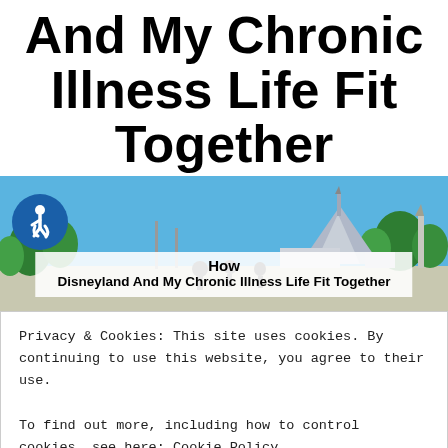And My Chronic Illness Life Fit Together
[Figure (photo): Disneyland park scene with Space Mountain in the background, blue sky, trees. Blue circular accessibility/wheelchair badge on the left. White semi-transparent overlay box in the center showing 'How Disneyland And My Chronic Illness Life Fit Together']
Privacy & Cookies: This site uses cookies. By continuing to use this website, you agree to their use.
To find out more, including how to control cookies, see here: Cookie Policy
Close and accept